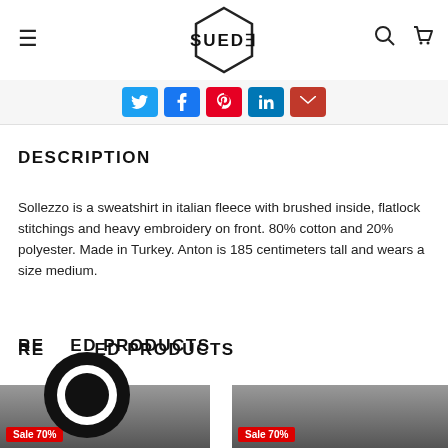SUEDE (logo with hexagon shape), hamburger menu, search icon, cart icon
[Figure (screenshot): Social share buttons: Twitter (blue), Facebook (blue), Pinterest (red), LinkedIn (blue), Email (dark red)]
DESCRIPTION
Sollezzo is a sweatshirt in italian fleece with brushed inside, flatlock stitchings and heavy embroidery on front. 80% cotton and 20% polyester. Made in Turkey. Anton is 185 centimeters tall and wears a size medium.
RELATED PRODUCTS
[Figure (photo): Two product cards showing sweatshirts, each with a red Sale 70% badge]
[Figure (other): Chat widget circle icon]
English (with UK flag icon and up arrow)